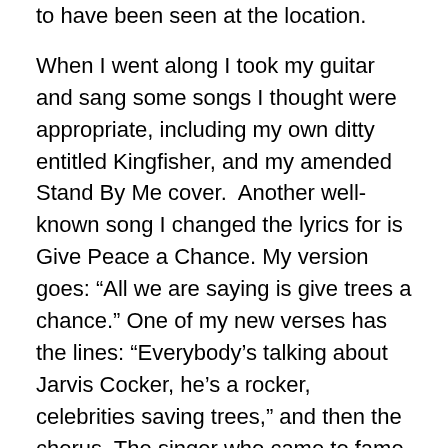to have been seen at the location.
When I went along I took my guitar and sang some songs I thought were appropriate, including my own ditty entitled Kingfisher, and my amended Stand By Me cover.  Another well-known song I changed the lyrics for is Give Peace a Chance. My version goes: “All we are saying is give trees a chance.” One of my new verses has the lines: “Everybody’s talking about Jarvis Cocker, he’s a rocker, celebrities saving trees,” and then the chorus. The singer who came to fame fronting the band Pulp, had supported the campaign to save the trees in Sheffield, where thousands were felled. Even Michael Gove, the then Secretary of State for the Environment, Food and Rural Affairs, spoke out at the time, and was reported in the Yorkshire Post to have called the felling of thousands of